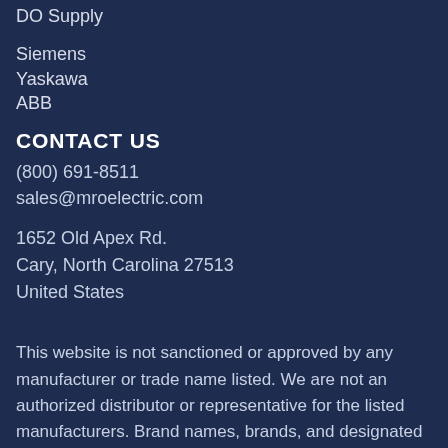DO Supply
Siemens
Yaskawa
ABB
CONTACT US
(800) 691-8511
sales@mroelectric.com
1652 Old Apex Rd.
Cary, North Carolina 27513
United States
This website is not sanctioned or approved by any manufacturer or trade name listed. We are not an authorized distributor or representative for the listed manufacturers. Brand names, brands, and designated